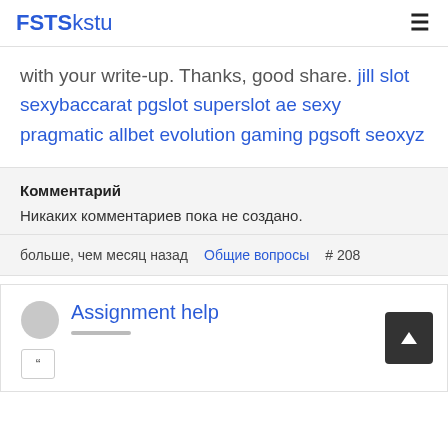FSTSkstu
with your write-up. Thanks, good share. jill slot sexybaccarat pgslot superslot ae sexy pragmatic allbet evolution gaming pgsoft seoxyz
Комментарий
Никаких комментариев пока не создано.
больше, чем месяц назад   Общие вопросы   # 208
Assignment help